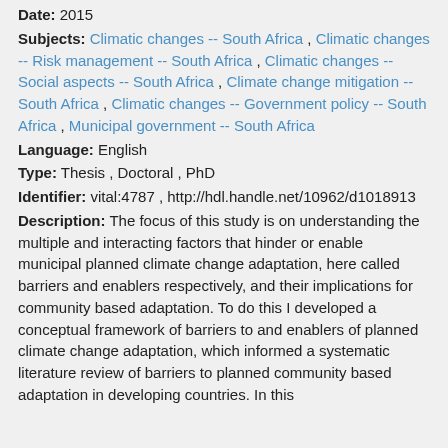Date: 2015
Subjects: Climatic changes -- South Africa , Climatic changes -- Risk management -- South Africa , Climatic changes -- Social aspects -- South Africa , Climate change mitigation -- South Africa , Climatic changes -- Government policy -- South Africa , Municipal government -- South Africa
Language: English
Type: Thesis , Doctoral , PhD
Identifier: vital:4787 , http://hdl.handle.net/10962/d1018913
Description: The focus of this study is on understanding the multiple and interacting factors that hinder or enable municipal planned climate change adaptation, here called barriers and enablers respectively, and their implications for community based adaptation. To do this I developed a conceptual framework of barriers to and enablers of planned climate change adaptation, which informed a systematic literature review of barriers to planned community based adaptation in developing countries. In this